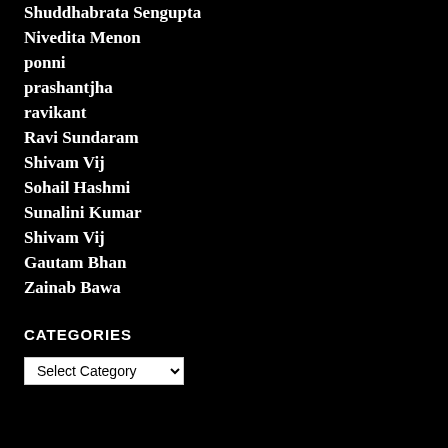Shuddhabrata Sengupta
Nivedita Menon
ponni
prashantjha
ravikant
Ravi Sundaram
Shivam Vij
Sohail Hashmi
Sunalini Kumar
Shivam Vij
Gautam Bhan
Zainab Bawa
CATEGORIES